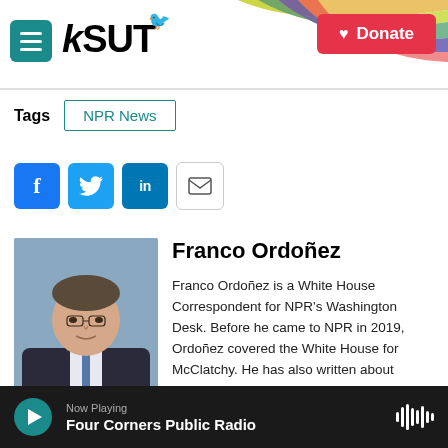[Figure (logo): KSUT public radio logo with hamburger menu icon and red Donate button, rainbow swoosh graphic in top right]
Tags  NPR News
[Figure (infographic): Social share buttons: Facebook (blue), Twitter (blue), LinkedIn (blue), Email (white/outlined)]
[Figure (photo): Headshot of Franco Ordoñez, a man in a dark suit with arms crossed, blue tie, light background]
Franco Ordoñez
Franco Ordoñez is a White House Correspondent for NPR's Washington Desk. Before he came to NPR in 2019, Ordoñez covered the White House for McClatchy. He has also written about diplomatic affairs, foreign policy and
Now Playing  Four Corners Public Radio